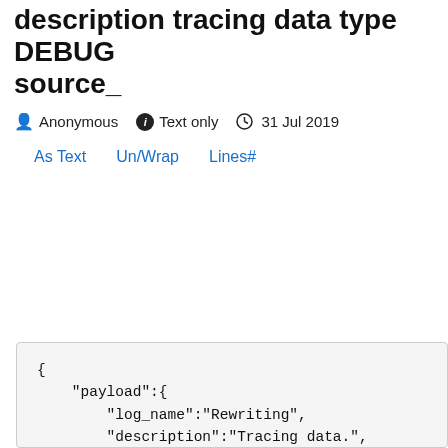description tracing data type DEBUG source_
Anonymous  Text only  31 Jul 2019
As Text   Un/Wrap   Lines#
{
    "payload":{
        "log_name":"Rewriting",
        "description":"Tracing data.",
        "type":"DEBUG",
        "source_id":"5d4162795a20a50018203a44",
        "fields":[
            {
                "key":"A meeting was taken with
                "result":[
                    {
                        "original":"A meeting was